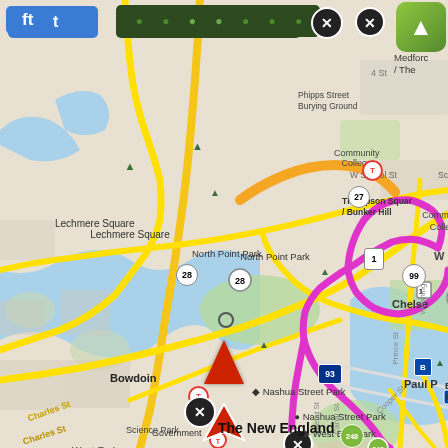[Figure (map): Google Maps screenshot showing Boston area including Lechmere Square, North Point Park, Nashua Street Park, West End Park, Boston North Station, Bowdoin, Government Center area, Community College, Thompson Square/Bunker Hill, Chelsea, Paul area. A magenta/pink navigation route is overlaid on the map going from around Route 1/99 interchange area south through Boston North Station area, and a red navigation arrow points upward at bottom center. Yellow roads indicate major streets, orange indicates highways. UI elements include a blue 'ft' button, a dark green bar with route info, a close button, and an app icon in top right.]